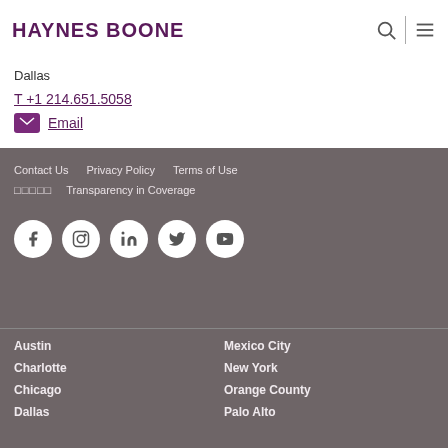HAYNES BOONE
Dallas
T +1 214.651.5058
Email
Contact Us  Privacy Policy  Terms of Use  □□□□□  Transparency in Coverage
[Figure (infographic): Social media icons: Facebook, Instagram, LinkedIn, Twitter, YouTube]
Austin
Charlotte
Chicago
Dallas
Mexico City
New York
Orange County
Palo Alto